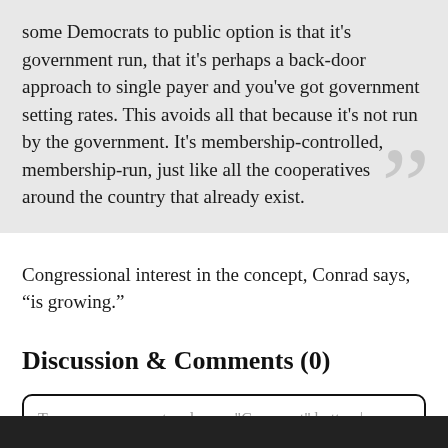some Democrats to public option is that it's government run, that it's perhaps a back-door approach to single payer and you've got government setting rates. This avoids all that because it's not run by the government. It's membership-controlled, membership-run, just like all the cooperatives around the country that already exist.
Congressional interest in the concept, Conrad says, “is growing.”
Discussion & Comments (0)
Type your comment and press "Comment" button